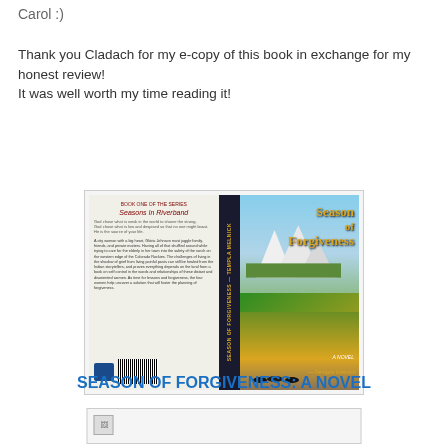Carol :)
Thank you Cladach for my e-copy of this book in exchange for my honest review!
It was well worth my time reading it!
[Figure (photo): Book cover of 'Season of Forgiveness: A Novel' by Templa Melnick. Shows front cover with mountain/field landscape, horses, and gold title text; spine; and back cover with synopsis text and barcode.]
SEASON OF FORGIVENESS: A NOVEL
[Figure (photo): Broken/loading image placeholder below the Season of Forgiveness link]